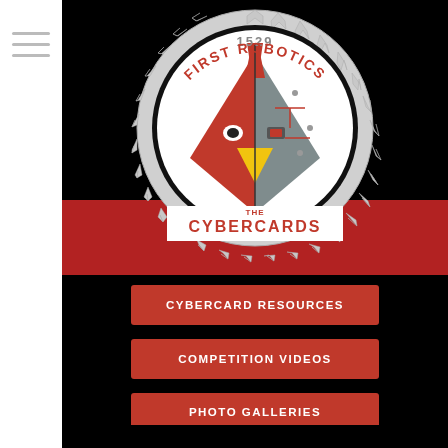[Figure (logo): First Robotics Team 1529 - The Cybercards logo. A gear-shaped emblem with a robotic cardinal bird mascot, half red bird and half robot/circuit board. Text reads '1529' at top, 'FIRST ROBOTICS' in an arc, and 'THE CYBERCARDS' at the bottom on a white shield background. Red band behind the lower portion of the logo.]
CYBERCARD RESOURCES
COMPETITION VIDEOS
PHOTO GALLERIES